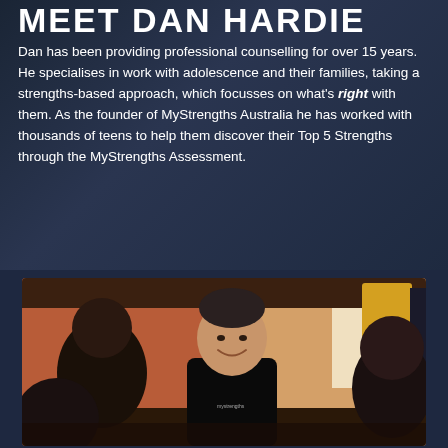MEET DAN HARDIE
Dan has been providing professional counselling for over 15 years. He specialises in work with adolescence and their families, taking a strengths-based approach, which focusses on what's right with them. As the founder of MyStrengths Australia he has worked with thousands of teens to help them discover their Top 5 Strengths through the MyStrengths Assessment.
[Figure (photo): Dan Hardie smiling and interacting with students in a colourful classroom environment, wearing a black t-shirt]